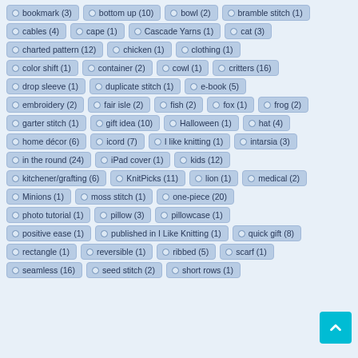bookmark (3)
bottom up (10)
bowl (2)
bramble stitch (1)
cables (4)
cape (1)
Cascade Yarns (1)
cat (3)
charted pattern (12)
chicken (1)
clothing (1)
color shift (1)
container (2)
cowl (1)
critters (16)
drop sleeve (1)
duplicate stitch (1)
e-book (5)
embroidery (2)
fair isle (2)
fish (2)
fox (1)
frog (2)
garter stitch (1)
gift idea (10)
Halloween (1)
hat (4)
home décor (6)
icord (7)
I like knitting (1)
intarsia (3)
in the round (24)
iPad cover (1)
kids (12)
kitchener/grafting (6)
KnitPicks (11)
lion (1)
medical (2)
Minions (1)
moss stitch (1)
one-piece (20)
photo tutorial (1)
pillow (3)
pillowcase (1)
positive ease (1)
published in I Like Knitting (1)
quick gift (8)
rectangle (1)
reversible (1)
ribbed (5)
scarf (1)
seamless (16)
seed stitch (2)
short rows (1)